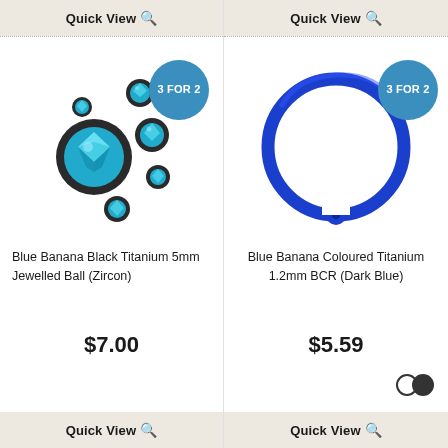Quick View 🔍
[Figure (photo): Blue Banana Black Titanium 5mm Jewelled Ball (Zircon) - multiple blue crystal balls of different sizes with a 3 FOR 2 badge]
Blue Banana Black Titanium 5mm Jewelled Ball (Zircon)
$7.00
Quick View 🔍
Quick View 🔍
[Figure (photo): Blue Banana Coloured Titanium 1.2mm BCR (Dark Blue) - a dark blue circular ring with ball closure and a 3 FOR 2 badge]
Blue Banana Coloured Titanium 1.2mm BCR (Dark Blue)
$5.59
Quick View 🔍